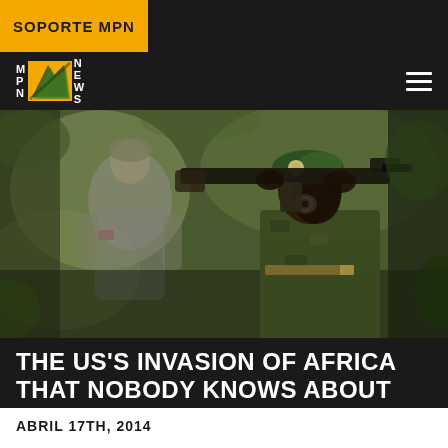SOPORTE MPN
[Figure (logo): MPN News logo with orange/yellow lightning bolt graphic on dark background navigation bar with hamburger menu]
[Figure (photo): Soldiers in military gear and camouflage in a jungle/forest setting. One soldier wearing a green beret looking through a weapon scope, another in US military uniform in the background.]
THE US'S INVASION OF AFRICA THAT NOBODY KNOWS ABOUT
ABRIL 17TH, 2014